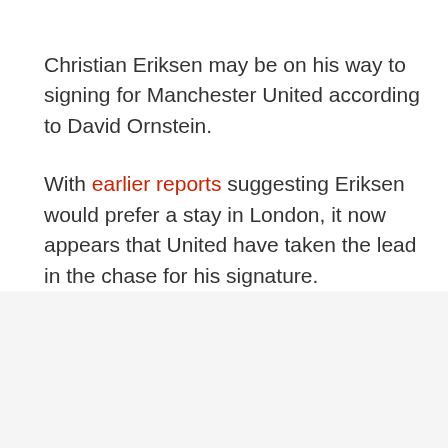Christian Eriksen may be on his way to signing for Manchester United according to David Ornstein.
With earlier reports suggesting Eriksen would prefer a stay in London, it now appears that United have taken the lead in the chase for his signature.